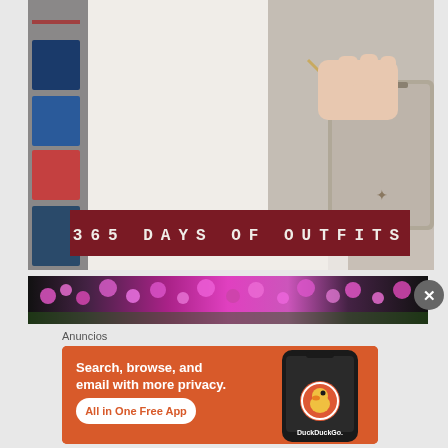[Figure (photo): Fashion photo showing person in white outfit holding a taupe chain-strap crossbody bag, with a dark red banner overlay reading '365 DAYS OF OUTFITS' in spaced letterpress-style white text]
[Figure (photo): Partial banner image showing pink/magenta flowers with a close/X button overlay]
Anuncios
[Figure (screenshot): DuckDuckGo advertisement on orange background. Text reads: 'Search, browse, and email with more privacy. All in One Free App' with DuckDuckGo logo and smartphone graphic showing the app]